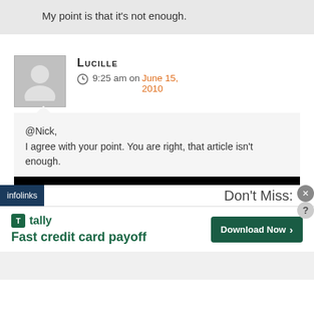My point is that it's not enough.
Lucille
9:25 am on June 15, 2010
@Nick,
I agree with your point. You are right, that article isn't enough.
[Figure (screenshot): Infolinks ad bar with 'Don't Miss:' text]
[Figure (screenshot): Tally advertisement: 'Fast credit card payoff' with Download Now button]